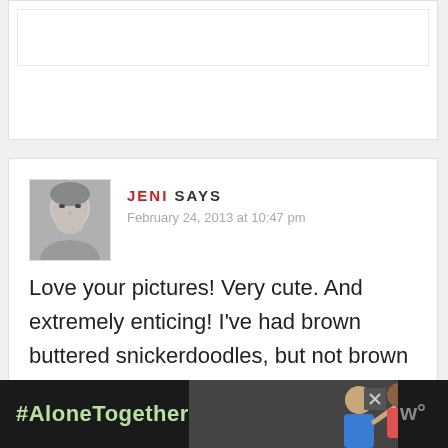[Figure (screenshot): Top partial white card section, cropped comment block]
JENI SAYS
February 24, 2013 at 10:47 pm
Love your pictures! Very cute. And extremely enticing! I've had brown buttered snickerdoodles, but not brown sugar. Sounds like a
[Figure (infographic): #AloneTogether advertisement banner at bottom with photo of two people]